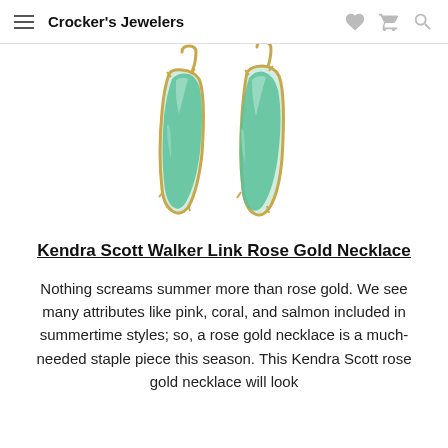Crocker's Jewelers
[Figure (photo): Two green stone drop earrings with gold frames and hooks, photographed on a white background]
Kendra Scott Walker Link Rose Gold Necklace
Nothing screams summer more than rose gold. We see many attributes like pink, coral, and salmon included in summertime styles; so, a rose gold necklace is a much-needed staple piece this season. This Kendra Scott rose gold necklace will look